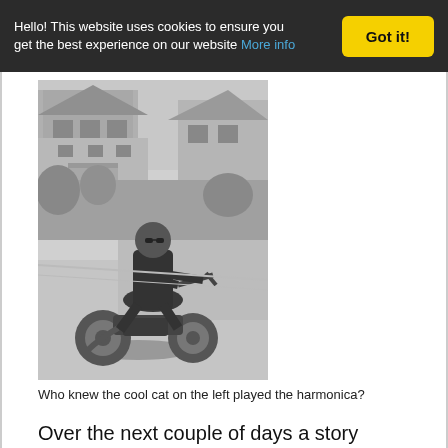Hello! This website uses cookies to ensure you get the best experience on our website More info  Got it!
[Figure (photo): Black and white photograph of a young man sitting on a motorcycle on a residential street, with houses and trees in the background.]
Who knew the cool cat on the left played the harmonica?
Over the next couple of days a story unfolded.  My uncle